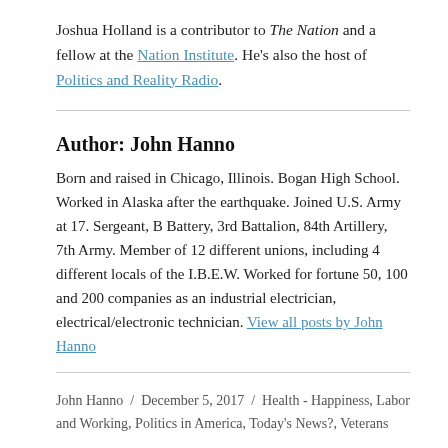Joshua Holland is a contributor to The Nation and a fellow at the Nation Institute. He's also the host of Politics and Reality Radio.
Author: John Hanno
Born and raised in Chicago, Illinois. Bogan High School. Worked in Alaska after the earthquake. Joined U.S. Army at 17. Sergeant, B Battery, 3rd Battalion, 84th Artillery, 7th Army. Member of 12 different unions, including 4 different locals of the I.B.E.W. Worked for fortune 50, 100 and 200 companies as an industrial electrician, electrical/electronic technician. View all posts by John Hanno
John Hanno / December 5, 2017 / Health - Happiness, Labor and Working, Politics in America, Today's News?, Veterans